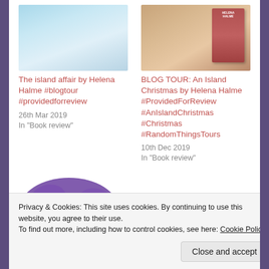[Figure (illustration): Book cover thumbnail for The island affair by Helena Halme, light blue tones]
[Figure (illustration): Book cover thumbnail for An Island Christmas by Helena Halme, warm brownish tones with visible book spine text]
The island affair by Helena Halme #blogtour #providedforreview
26th Mar 2019
In "Book review"
BLOG TOUR: An Island Christmas by Helena Halme #ProvidedForReview #AnIslandChristmas #Christmas #RandomThingsTours
10th Dec 2019
In "Book review"
[Figure (logo): One More Word logo with purple ink splat background and white serif text]
Privacy & Cookies: This site uses cookies. By continuing to use this website, you agree to their use.
To find out more, including how to control cookies, see here: Cookie Policy
Close and accept